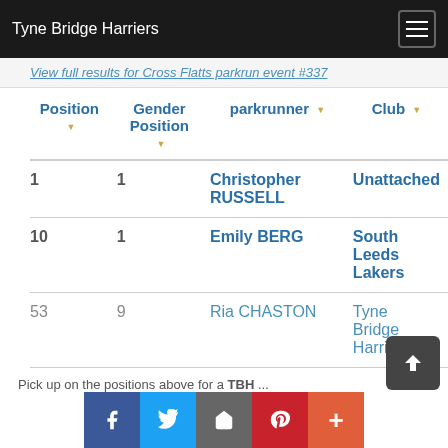Tyne Bridge Harriers
View full results for Cross Flatts parkrun event #337
| Position | Gender Position | parkrunner | Club |
| --- | --- | --- | --- |
| 1 | 1 | Christopher RUSSELL | Unattached |
| 10 | 1 | Emily BERG | South Leeds Lakers |
| 53 | 9 | Ria CHASTON | Tyne Bridge Harriers |
Pick up on the positions above for a TBH...
Facebook Twitter Google Pinterest Plus